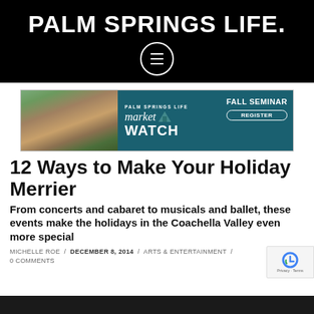PALM SPRINGS LIFE.
[Figure (screenshot): Palm Springs Life Market Watch Fall Seminar advertisement banner with aerial desert/golf course photo on left and teal background with text on right]
12 Ways to Make Your Holiday Merrier
From concerts and cabaret to musicals and ballet, these events make the holidays in the Coachella Valley even more special
MICHELLE ROE / DECEMBER 8, 2014 / ARTS & ENTERTAINMENT / 0 COMMENTS